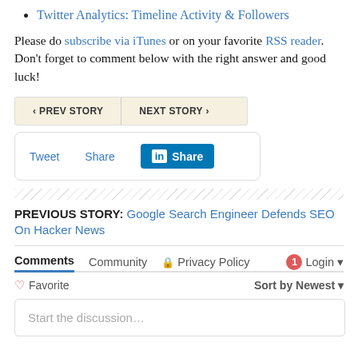Twitter Analytics: Timeline Activity & Followers
Please do subscribe via iTunes or on your favorite RSS reader. Don't forget to comment below with the right answer and good luck!
[Figure (other): Navigation buttons: PREV STORY and NEXT STORY]
[Figure (other): Social sharing buttons: Tweet, Share, LinkedIn Share]
[Figure (other): Hatched decorative divider]
PREVIOUS STORY: Google Search Engineer Defends SEO On Hacker News
Comments  Community  Privacy Policy  1  Login
Favorite  Sort by Newest
Start the discussion…